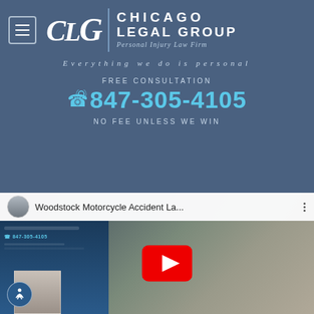[Figure (logo): Chicago Legal Group logo with CLG initials and firm name]
Everything we do is personal
FREE CONSULTATION
847-305-4105
NO FEE UNLESS WE WIN
[Figure (screenshot): YouTube video thumbnail showing a man in a suit with the title 'Woodstock Motorcycle Accident La...' and a play button overlay]